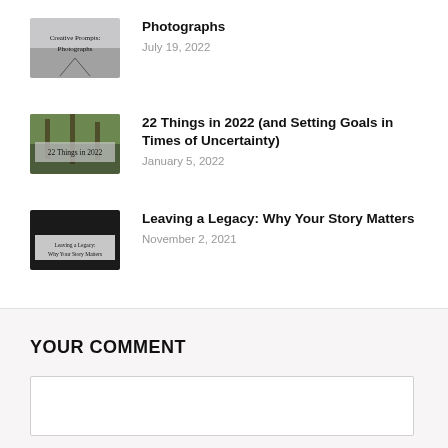[Figure (photo): Thumbnail image with handwritten text 'Creative Prompts: Photographs' over a road/path photo]
Photographs
July 19, 2022
[Figure (photo): Thumbnail image with text '22 Things in 2022' over a forest photo]
22 Things in 2022 (and Setting Goals in Times of Uncertainty)
January 5, 2022
[Figure (photo): Thumbnail image with handwritten text 'Leaving a Legacy: Why Your Story Matters' over a dark photo]
Leaving a Legacy: Why Your Story Matters
November 2, 2021
YOUR COMMENT